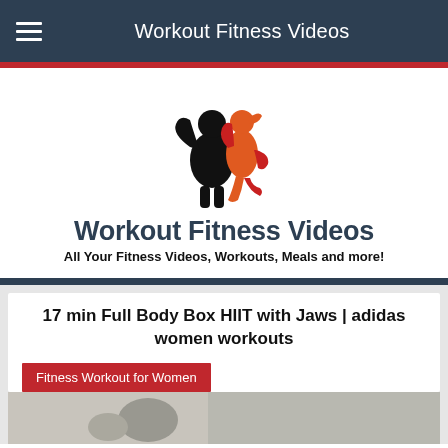Workout Fitness Videos
[Figure (logo): Workout Fitness Videos logo: black male bodybuilder silhouette back-to-back with orange-red female fitness silhouette]
Workout Fitness Videos
All Your Fitness Videos, Workouts, Meals and more!
17 min Full Body Box HIIT with Jaws | adidas women workouts
Fitness Workout for Women